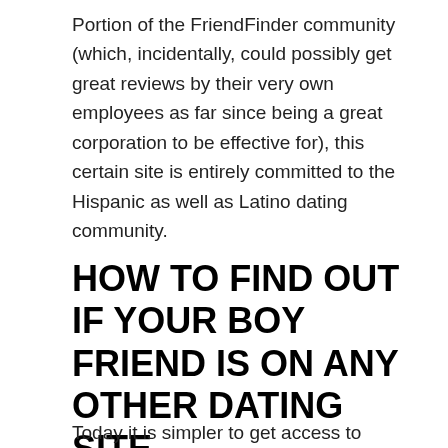Portion of the FriendFinder community (which, incidentally, could possibly get great reviews by their very own employees as far since being a great corporation to be effective for), this certain site is entirely committed to the Hispanic as well as Latino dating community.
HOW TO FIND OUT IF YOUR BOY FRIEND IS ON ANY OTHER DATING SITE
Today it is simpler to get access to